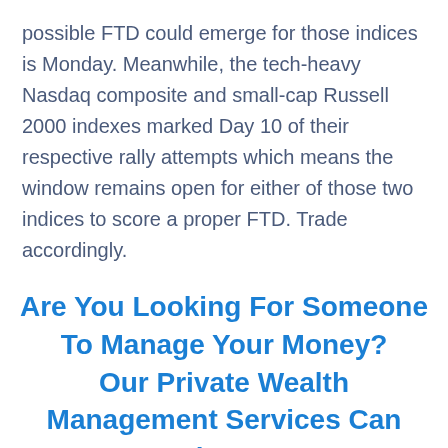possible FTD could emerge for those indices is Monday. Meanwhile, the tech-heavy Nasdaq composite and small-cap Russell 2000 indexes marked Day 10 of their respective rally attempts which means the window remains open for either of those two indices to score a proper FTD. Trade accordingly.
Are You Looking For Someone To Manage Your Money? Our Private Wealth Management Services Can Help You!